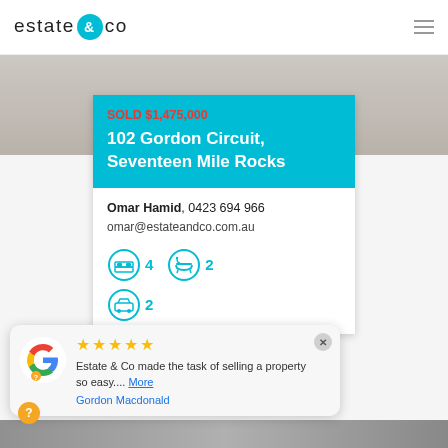estate & co
SOLD $1,475,000
102 Gordon Circuit, Seventeen Mile Rocks
Omar Hamid, 0423 694 966
omar@estateandco.com.au
4 bedrooms, 2 bathrooms, 2 car spaces
Estate & Co made the task of selling a property so easy.... More
Gordon Macdonald